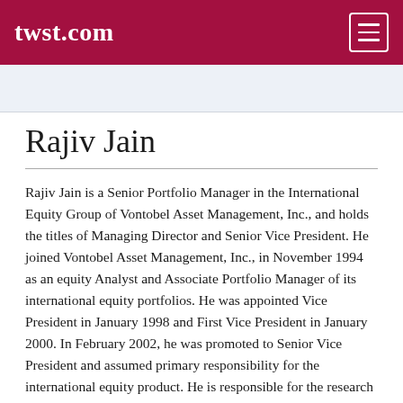twst.com
Rajiv Jain
Rajiv Jain is a Senior Portfolio Manager in the International Equity Group of Vontobel Asset Management, Inc., and holds the titles of Managing Director and Senior Vice President. He joined Vontobel Asset Management, Inc., in November 1994 as an equity Analyst and Associate Portfolio Manager of its international equity portfolios. He was appointed Vice President in January 1998 and First Vice President in January 2000. In February 2002, he was promoted to Senior Vice President and assumed primary responsibility for the international equity product. He is responsible for the research effort and portfolio construction